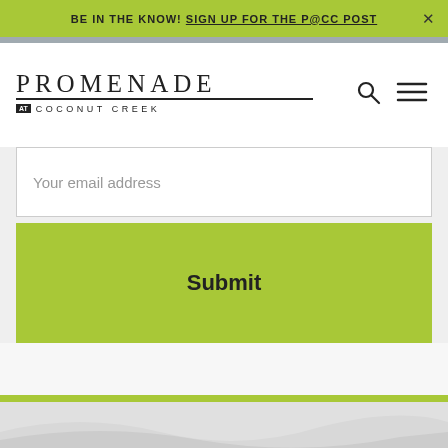BE IN THE KNOW! SIGN UP FOR THE P@CC POST
[Figure (logo): Promenade at Coconut Creek logo with search and menu icons]
Your email address
Submit